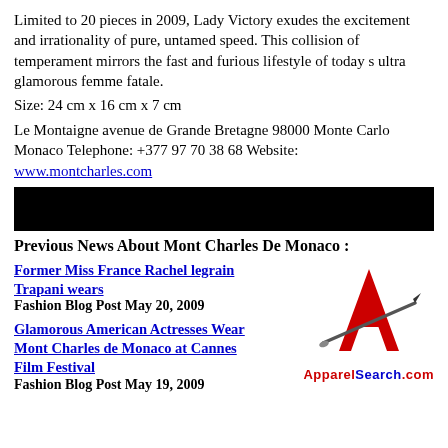Limited to 20 pieces in 2009, Lady Victory exudes the excitement and irrationality of pure, untamed speed. This collision of temperament mirrors the fast and furious lifestyle of today s ultra glamorous femme fatale.
Size: 24 cm x 16 cm x 7 cm
Le Montaigne avenue de Grande Bretagne 98000 Monte Carlo Monaco Telephone: +377 97 70 38 68 Website: www.montcharles.com
[Figure (other): Black redacted bar]
Previous News About Mont Charles De Monaco :
Former Miss France Rachel legrain Trapani wears
Fashion Blog Post May 20, 2009
Glamorous American Actresses Wear Mont Charles de Monaco at Cannes Film Festival
Fashion Blog Post May 19, 2009
[Figure (logo): ApparelSearch.com logo with red letter A and needle graphic]